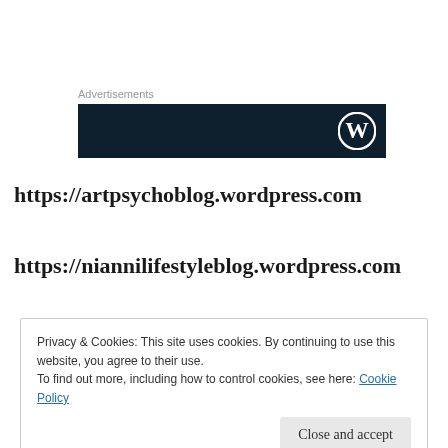[Figure (screenshot): Advertisement banner with dark navy background and WordPress logo on the right side]
https://artpsychoblog.wordpress.com
https://niannilifestyleblog.wordpress.com
Privacy & Cookies: This site uses cookies. By continuing to use this website, you agree to their use.
To find out more, including how to control cookies, see here: Cookie Policy
Close and accept